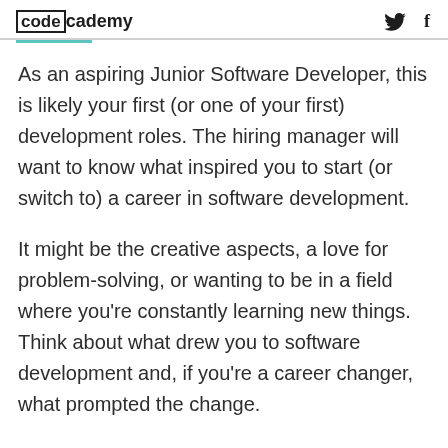codecademy
As an aspiring Junior Software Developer, this is likely your first (or one of your first) development roles. The hiring manager will want to know what inspired you to start (or switch to) a career in software development.
It might be the creative aspects, a love for problem-solving, or wanting to be in a field where you're constantly learning new things. Think about what drew you to software development and, if you're a career changer, what prompted the change.